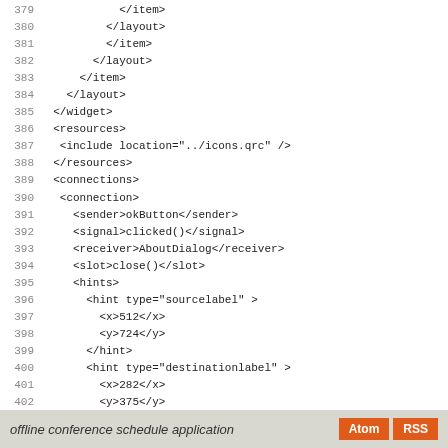379     </item>
380         </layout>
381         </item>
382       </layout>
383     </item>
384   </layout>
385 </widget>
386 <resources>
387  <include location="../icons.qrc" />
388 </resources>
389 <connections>
390  <connection>
391    <sender>okButton</sender>
392    <signal>clicked()</signal>
393    <receiver>AboutDialog</receiver>
394    <slot>close()</slot>
395    <hints>
396      <hint type="sourcelabel" >
397        <x>512</x>
398        <y>724</y>
399      </hint>
400      <hint type="destinationlabel" >
401        <x>282</x>
402        <y>375</y>
403      </hint>
404    </hints>
405  </connection>
406 </connections>
407 </ui>
offline conference schedule application